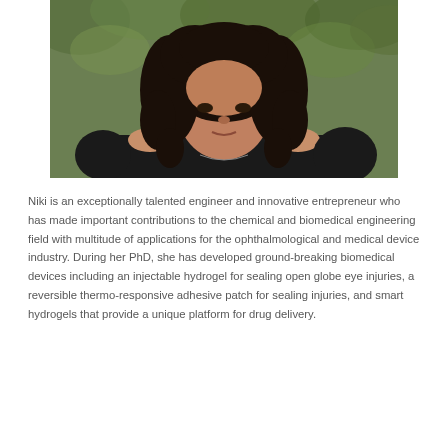[Figure (photo): Portrait photo of a woman with dark curly hair wearing a black off-shoulder top, photographed outdoors with green foliage in background.]
Niki is an exceptionally talented engineer and innovative entrepreneur who has made important contributions to the chemical and biomedical engineering field with multitude of applications for the ophthalmological and medical device industry. During her PhD, she has developed ground-breaking biomedical devices including an injectable hydrogel for sealing open globe eye injuries, a reversible thermo-responsive adhesive patch for sealing injuries, and smart hydrogels that provide a unique platform for drug delivery.